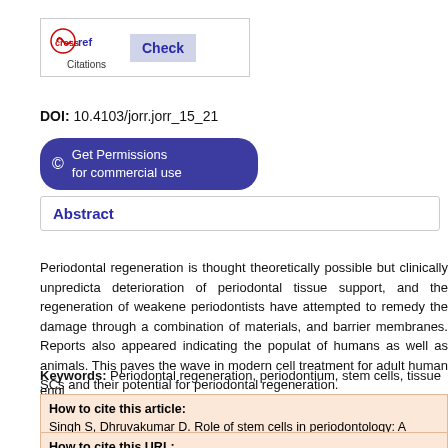[Figure (logo): CrossRef Check Citations logo with a Check button]
DOI: 10.4103/jorr.jorr_15_21
© Get Permissions for commercial use
Abstract
Periodontal regeneration is thought theoretically possible but clinically unpredicta... deterioration of periodontal tissue support, and the regeneration of weakened periodontists have attempted to remedy the damage through a combination of materials, and barrier membranes. Reports also appeared indicating the population of humans as well as animals. This paves the wave in modern cell treatment for adult human SCs and their potential for periodontal regeneration.
Keywords: Periodontal regeneration, periodontium, stem cells, tissue engi...
How to cite this article:
Singh S, Dhruvakumar D. Role of stem cells in periodontology: A review. J Oral R...
How to cite this URL: